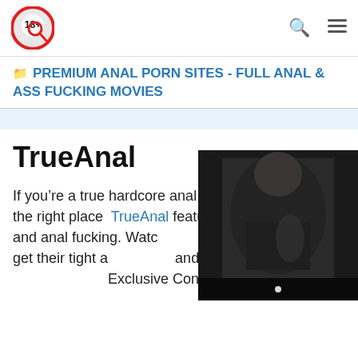18+ site logo, search icon, menu icon
PREMIUM ANAL PORN SITES - FULL ANAL & ASS FUCKING MOVIES
TrueAnal
If you're a true hardcore anal fan, you've come to the right place. TrueAnal features the best anal and anal fucking. Watch the net get their tight and stretched open for. Exclusive Content upda...
[Figure (photo): Partially visible person wearing dark jacket, overlapping the text area in the lower right corner of the page]